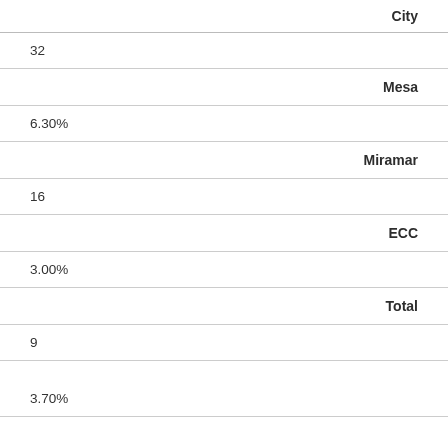|  | City |
| --- | --- |
| 32 |  |
| 6.30% | Mesa |
| 16 | Miramar |
| 3.00% | ECC |
| 9 | Total |
| 3.70% |  |